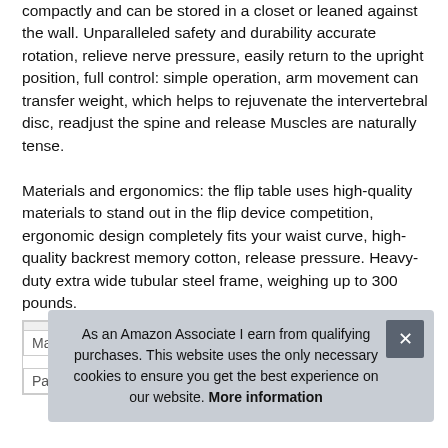compactly and can be stored in a closet or leaned against the wall. Unparalleled safety and durability accurate rotation, relieve nerve pressure, easily return to the upright position, full control: simple operation, arm movement can transfer weight, which helps to rejuvenate the intervertebral disc, readjust the spine and release Muscles are naturally tense.
Materials and ergonomics: the flip table uses high-quality materials to stand out in the flip device competition, ergonomic design completely fits your waist curve, high-quality backrest memory cotton, release pressure. Heavy-duty extra wide tubular steel frame, weighing up to 300 pounds.
| Ma |  |
| Part Number | CCXI40327 |
As an Amazon Associate I earn from qualifying purchases. This website uses the only necessary cookies to ensure you get the best experience on our website. More information